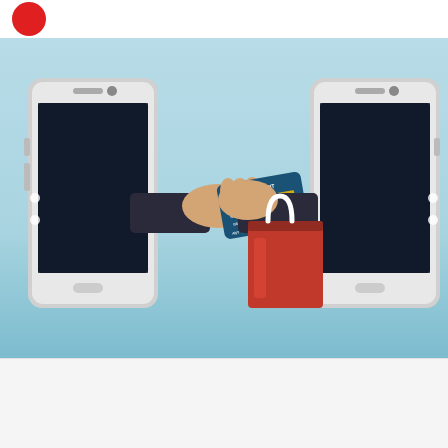[Figure (illustration): Illustration showing two smartphones facing each other with hands reaching out — left hand holding a credit card, right hand holding a red shopping bag — representing mobile commerce / m-commerce transaction on a light blue gradient background.]
MARKETING
SHARE
[Figure (infographic): Social sharing icons row: Facebook, LinkedIn, Twitter, Email icons in dark navy square buttons, plus an orange speech-bubble chat icon circle on the right.]